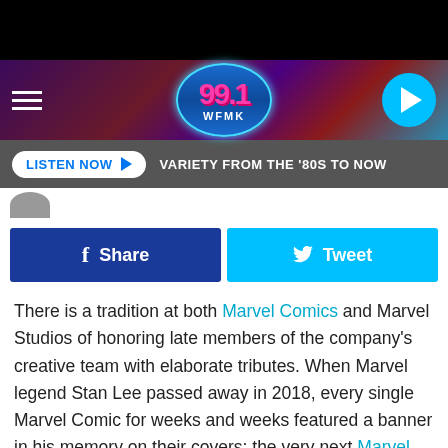[Figure (screenshot): Black top bar]
99.1 WFMK radio station header with hamburger menu, oval logo, and play button
LISTEN NOW ▶  VARIETY FROM THE '80S TO NOW
[Figure (photo): Small avatar/profile image partial view]
[Figure (other): Share and Tweet buttons]
There is a tradition at both Marvel Comics and Marvel Studios of honoring late members of the company's creative team with elaborate tributes. When Marvel legend Stan Lee passed away in 2018, every single Marvel Comic for weeks and weeks featured a banner in his memory on their covers; the very next Marvel Cinematic Universe movie, Captain Marvel, reconfigured the studio's logo into an elaborate celebrate of Lee, featuring images of all his cameos